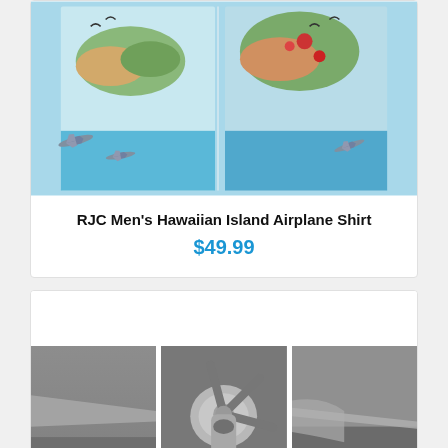[Figure (photo): Hawaiian shirt with tropical island and airplane pattern, shown spread open displaying colorful fabric with airplanes, ocean, and tropical foliage]
RJC Men's Hawaiian Island Airplane Shirt
$49.99
[Figure (photo): Triptych of black and white photographs showing a vintage WWII fighter airplane with propeller up close, split across three panels]